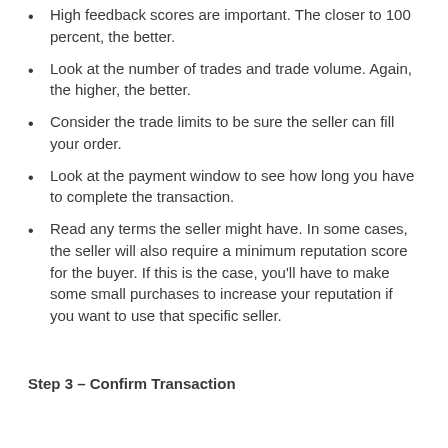High feedback scores are important. The closer to 100 percent, the better.
Look at the number of trades and trade volume. Again, the higher, the better.
Consider the trade limits to be sure the seller can fill your order.
Look at the payment window to see how long you have to complete the transaction.
Read any terms the seller might have. In some cases, the seller will also require a minimum reputation score for the buyer. If this is the case, you'll have to make some small purchases to increase your reputation if you want to use that specific seller.
Step 3 – Confirm Transaction